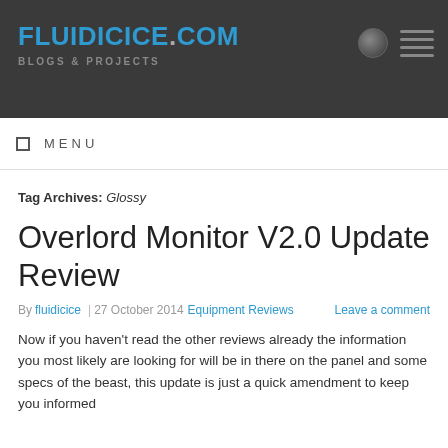FLUIDICICE.COM
BLOGS & PROJECTS
MENU
Tag Archives: Glossy
Overlord Monitor V2.0 Update Review
By fluidicice | 27 October 2014  Equipment Reviews  Leave a comment
Now if you haven't read the other reviews already the information you most likely are looking for will be in there on the panel and some specs of the beast, this update is just a quick amendment to keep you informed